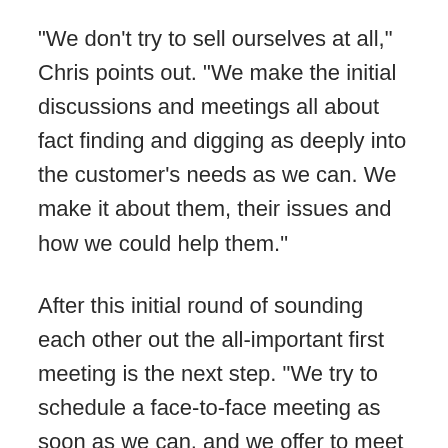"We don't try to sell ourselves at all," Chris points out. "We make the initial discussions and meetings all about fact finding and digging as deeply into the customer's needs as we can. We make it about them, their issues and how we could help them."
After this initial round of sounding each other out the all-important first meeting is the next step. "We try to schedule a face-to-face meeting as soon as we can, and we offer to meet somewhere convenient to the customer, maybe at our office or theirs," clarifies Chris.
Purple Crane like this face-to-face meeting to be informal and guided by the client. "We get them to tell us how they want to run...